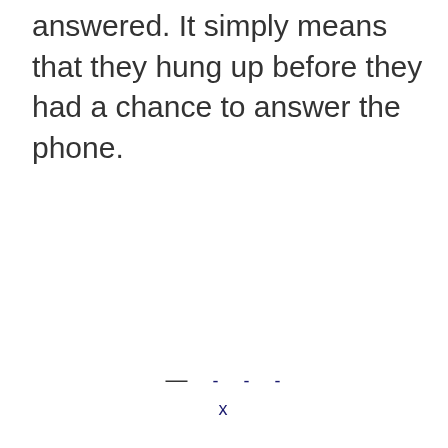answered. It simply means that they hung up before they had a chance to answer the phone.
— - - - x